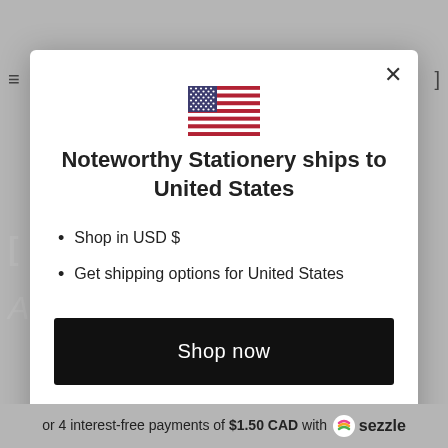[Figure (illustration): US flag icon centered at top of modal]
Noteworthy Stationery ships to United States
Shop in USD $
Get shipping options for United States
Shop now
Change shipping country
or 4 interest-free payments of $1.50 CAD with sezzle